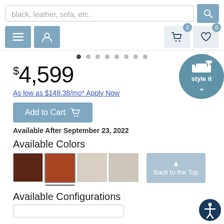[Figure (screenshot): E-commerce furniture website screenshot showing search bar, navigation icons, price, financing link, add to cart button, available colors swatches, and available configurations section.]
black, leather, sofa, etc.
$4,599
As low as $148.38/mo* Apply Now
Add to Cart
Available After September 23, 2022
Available Colors
Back to the Top
Available Configurations